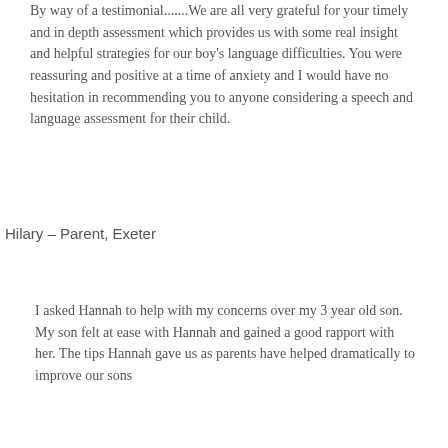By way of a testimonial.......We are all very grateful for your timely and in depth assessment which provides us with some real insight and helpful strategies for our boy's language difficulties. You were reassuring and positive at a time of anxiety and I would have no hesitation in recommending you to anyone considering a speech and language assessment for their child.
Hilary – Parent, Exeter
I asked Hannah to help with my concerns over my 3 year old son. My son felt at ease with Hannah and gained a good rapport with her. The tips Hannah gave us as parents have helped dramatically to improve our sons